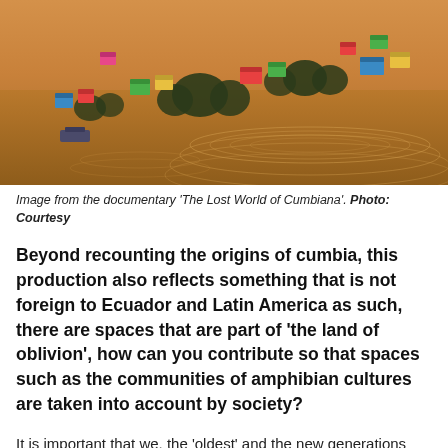[Figure (photo): Aerial view of a flooded community with colorful stilt houses scattered across water, photographed at dusk or dawn with golden light rippling on the water surface. Trees and structures visible throughout.]
Image from the documentary 'The Lost World of Cumbiana'. Photo: Courtesy
Beyond recounting the origins of cumbia, this production also reflects something that is not foreign to Ecuador and Latin America as such, there are spaces that are part of 'the land of oblivion', how can you contribute so that spaces such as the communities of amphibian cultures are taken into account by society?
It is important that we, the 'oldest' and the new generations have a greater awareness of the place we inhabit… in the